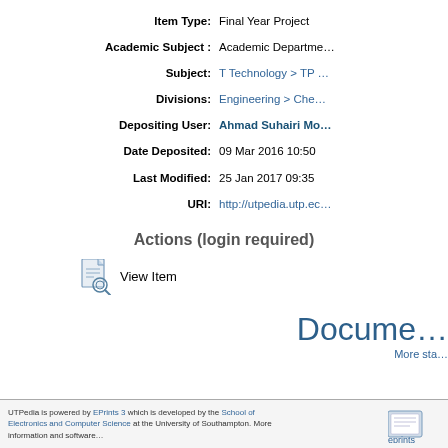| Field | Value |
| --- | --- |
| Item Type: | Final Year Project |
| Academic Subject : | Academic Department… |
| Subject: | T Technology > TP … |
| Divisions: | Engineering > Che… |
| Depositing User: | Ahmad Suhairi Mo… |
| Date Deposited: | 09 Mar 2016 10:50 |
| Last Modified: | 25 Jan 2017 09:35 |
| URI: | http://utpedia.utp.ec… |
Actions (login required)
View Item
Docume…
More sta…
UTPedia is powered by EPrints 3 which is developed by the School of Electronics and Computer Science at the University of Southampton. More information and software…